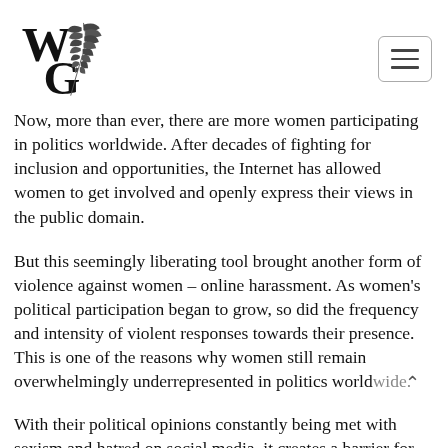[Figure (logo): WG logo with decorative botanical/leaf illustration and stylized W and G letters]
Now, more than ever, there are more women participating in politics worldwide. After decades of fighting for inclusion and opportunities, the Internet has allowed women to get involved and openly express their views in the public domain.
But this seemingly liberating tool brought another form of violence against women – online harassment. As women's political participation began to grow, so did the frequency and intensity of violent responses towards their presence. This is one of the reasons why women still remain overwhelmingly underrepresented in politics worldwide.
With their political opinions constantly being met with sexism and hatred on social media, it creates a barrier for